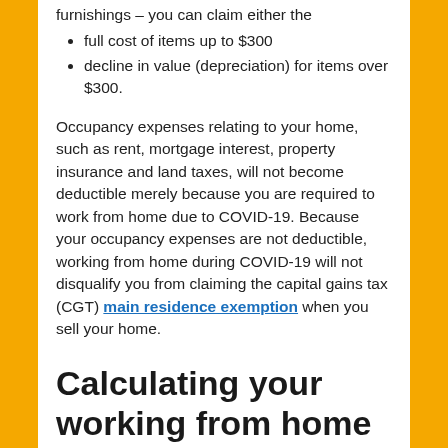furnishings – you can claim either the
full cost of items up to $300
decline in value (depreciation) for items over $300.
Occupancy expenses relating to your home, such as rent, mortgage interest, property insurance and land taxes, will not become deductible merely because you are required to work from home due to COVID-19. Because your occupancy expenses are not deductible, working from home during COVID-19 will not disqualify you from claiming the capital gains tax (CGT) main residence exemption when you sell your home.
Calculating your working from home expenses
To the extent that the s